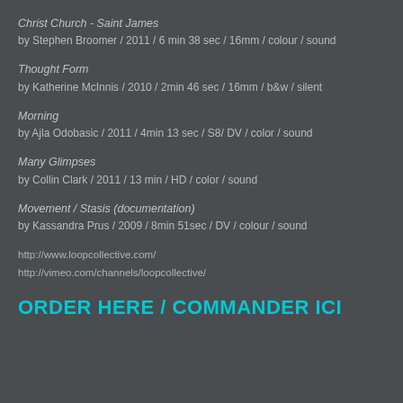Christ Church - Saint James
by Stephen Broomer / 2011 / 6 min 38 sec / 16mm / colour / sound
Thought Form
by Katherine McInnis / 2010 / 2min 46 sec / 16mm / b&w / silent
Morning
by Ajla Odobasic / 2011 / 4min 13 sec / S8/ DV / color / sound
Many Glimpses
by Collin Clark / 2011 / 13 min / HD / color / sound
Movement / Stasis (documentation)
by Kassandra Prus / 2009 / 8min 51sec / DV / colour / sound
http://www.loopcollective.com/
http://vimeo.com/channels/loopcollective/
ORDER HERE / COMMANDER ICI